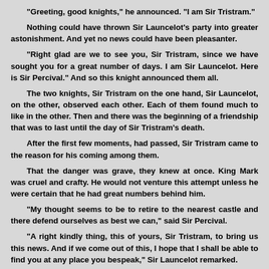"Greeting, good knights," he announced. "I am Sir Tristram."
Nothing could have thrown Sir Launcelot's party into greater astonishment. And yet no news could have been pleasanter.
"Right glad are we to see you, Sir Tristram, since we have sought you for a great number of days. I am Sir Launcelot. Here is Sir Percival." And so this knight announced them all.
The two knights, Sir Tristram on the one hand, Sir Launcelot, on the other, observed each other. Each of them found much to like in the other. Then and there was the beginning of a friendship that was to last until the day of Sir Tristram's death.
After the first few moments, had passed, Sir Tristram came to the reason for his coming among them.
That the danger was grave, they knew at once. King Mark was cruel and crafty. He would not venture this attempt unless he were certain that he had great numbers behind him.
"My thought seems to be to retire to the nearest castle and there defend ourselves as best we can," said Sir Percival.
"A right kindly thing, this of yours, Sir Tristram, to bring us this news. And if we come out of this, I hope that I shall be able to find you at any place you bespeak," Sir Launcelot remarked.
"The kindness is on the part of this man here." And Sir Tristram told them of Walker. "Need I say that I stay with you and share in your fortune such as it is. It should offer great sport and I would not